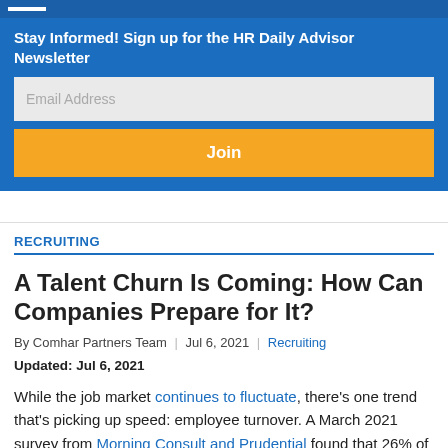Stay Informed! Sign up for the HR Daily Advisor Newsletter
RECRUITING
A Talent Churn Is Coming: How Can Companies Prepare for It?
By Comhar Partners Team | Jul 6, 2021 | Recruiting
Updated: Jul 6, 2021
While the job market continues to fluctuate, there's one trend that's picking up speed: employee turnover. A March 2021 survey from Morning Consult and Prudential found that 26% of respondents plan to look for a new employer once "the threat of